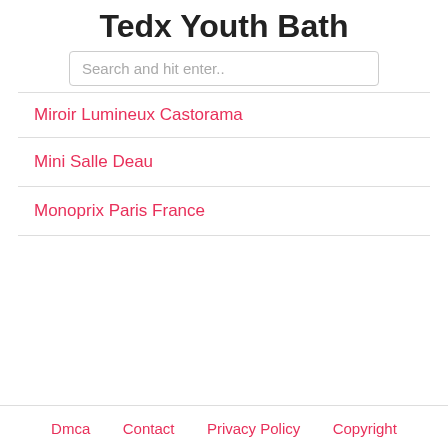Tedx Youth Bath
Search and hit enter..
Miroir Lumineux Castorama
Mini Salle Deau
Monoprix Paris France
Dmca   Contact   Privacy Policy   Copyright